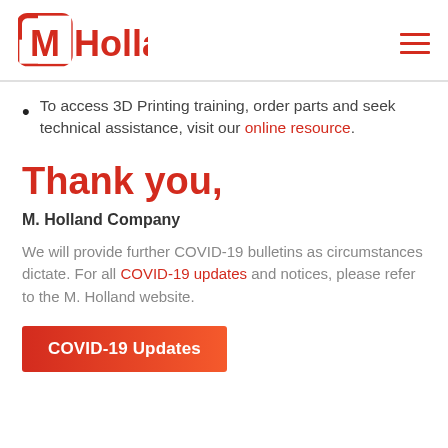MHolland
To access 3D Printing training, order parts and seek technical assistance, visit our online resource.
Thank you,
M. Holland Company
We will provide further COVID-19 bulletins as circumstances dictate. For all COVID-19 updates and notices, please refer to the M. Holland website.
COVID-19 Updates